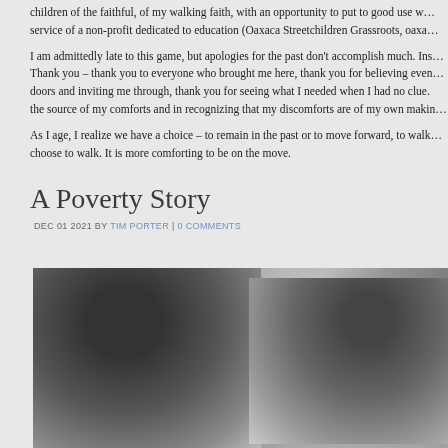children of the faithful, of my walking faith, with an opportunity to put to good use … service of a non-profit dedicated to education (Oaxaca Streetchildren Grassroots, oaxa…
I am admittedly late to this game, but apologies for the past don't accomplish much. Ins… Thank you – thank you to everyone who brought me here, thank you for believing even… doors and inviting me through, thank you for seeing what I needed when I had no clue. … the source of my comforts and in recognizing that my discomforts are of my own maki…
As I age, I realize we have a choice – to remain in the past or to move forward, to walk … choose to walk. It is more comforting to be on the move.
A Poverty Story
DEC 01 2021 BY TIM PORTER | 0 COMMENTS
[Figure (photo): Black and white photograph of two girls/young women with dark hair, viewed from behind/side, one wearing a backpack, the other in a sleeveless top, with a blurred background.]